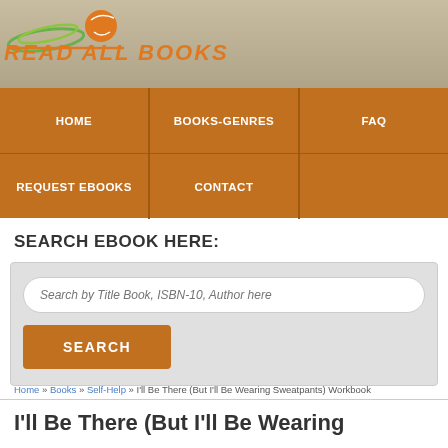[Figure (logo): Read All Books website logo with green and orange graphic icon above stylized orange italic text reading READ ALL BOOKS]
Navigation menu with items: HOME, BOOKS-GENRES, FAQ, REQUEST EBOOKS, CONTACT
SEARCH EBOOK HERE:
[Figure (screenshot): Search box with placeholder text 'Search by Title Book, ISBN-10, Author here' and an orange SEARCH button below]
Home » Books » Self-Help » I'll Be There (But I'll Be Wearing Sweatpants) Workbook
I'll Be There (But I'll Be Wearing